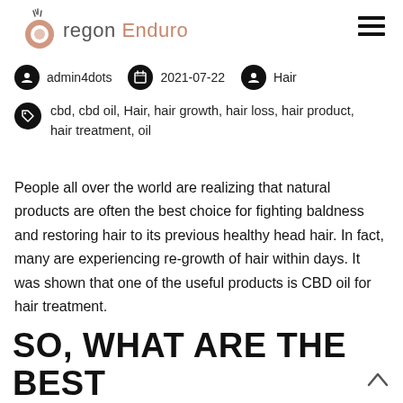Oregon Enduro
admin4dots   2021-07-22   Hair
cbd, cbd oil, Hair, hair growth, hair loss, hair product, hair treatment, oil
People all over the world are realizing that natural products are often the best choice for fighting baldness and restoring hair to its previous healthy head hair. In fact, many are experiencing re-growth of hair within days. It was shown that one of the useful products is CBD oil for hair treatment.
SO, WHAT ARE THE BEST